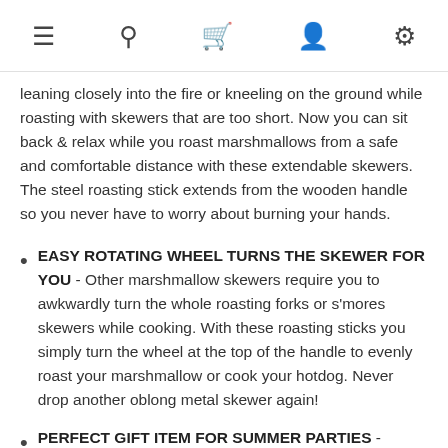≡ 🔍 🛒 👤 ⚙
leaning closely into the fire or kneeling on the ground while roasting with skewers that are too short. Now you can sit back & relax while you roast marshmallows from a safe and comfortable distance with these extendable skewers. The steel roasting stick extends from the wooden handle so you never have to worry about burning your hands.
EASY ROTATING WHEEL TURNS THE SKEWER FOR YOU - Other marshmallow skewers require you to awkwardly turn the whole roasting forks or s'mores skewers while cooking. With these roasting sticks you simply turn the wheel at the top of the handle to evenly roast your marshmallow or cook your hotdog. Never drop another oblong metal skewer again!
PERFECT GIFT ITEM FOR SUMMER PARTIES - Perfect for Memorial and Labor Day cookouts, bridal shower & bachelorette favors, baby shower favors, summer camping and more! The unique blue color and luxury packaging makes these roasting forks a perfect gift that's already